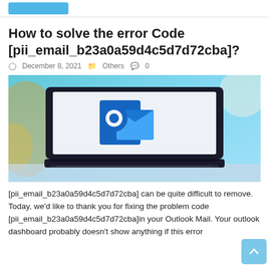How to solve the error Code [pii_email_b23a0a59d4c5d7d72cba]?
December 8, 2021  Others  0
[Figure (photo): Laptop computer with Microsoft Outlook logo displayed on screen, blurred colorful background]
[pii_email_b23a0a59d4c5d7d72cba] can be quite difficult to remove. Today, we'd like to thank you for fixing the problem code [pii_email_b23a0a59d4c5d7d72cba]in your Outlook Mail. Your outlook dashboard probably doesn't show anything if this error